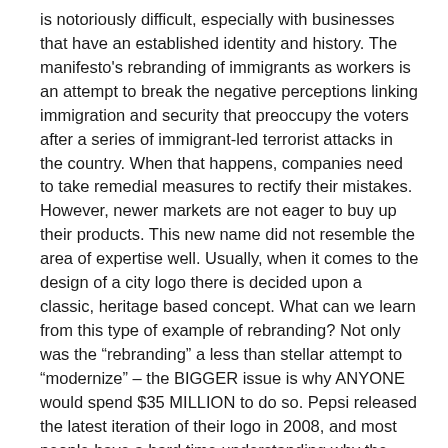is notoriously difficult, especially with businesses that have an established identity and history. The manifesto's rebranding of immigrants as workers is an attempt to break the negative perceptions linking immigration and security that preoccupy the voters after a series of immigrant-led terrorist attacks in the country. When that happens, companies need to take remedial measures to rectify their mistakes. However, newer markets are not eager to buy up their products. This new name did not resemble the area of expertise well. Usually, when it comes to the design of a city logo there is decided upon a classic, heritage based concept. What can we learn from this type of example of rebranding? Not only was the “rebranding” a less than stellar attempt to “modernize” – the BIGGER issue is why ANYONE would spend $35 MILLION to do so. Pepsi released the latest iteration of their logo in 2008, and most people have a hard time understanding why the company spent a million dollars to simply tweak their existing logo. A poor explanation for a well-known company that does not really need to explain its industry. However, this is something that Holiday Inn failed to do when they rebranded back in 2007. It is